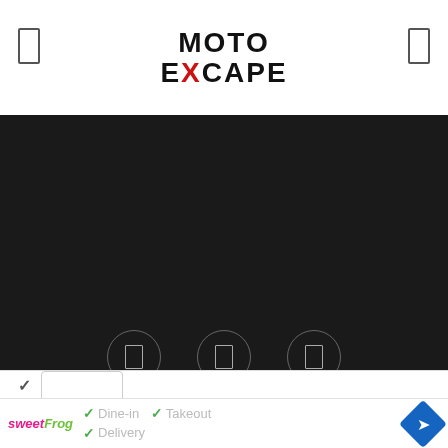MOTO EXCAPE
[Figure (screenshot): Dark footer section with social media icon circles (three circular icons with border outlines), navigation links (About us, Cookie policy, Find out more on how we use cookies., Contact us), and copyright line]
About us   Cookie policy   Find out more on how we use cookies.   Contact us
2022 · Moto Excape® · All rights reserved
[Figure (screenshot): Bottom advertisement bar showing sweetFrog logo, Dine-in, Takeout, Delivery options with checkmarks, and a blue diamond navigation arrow icon]